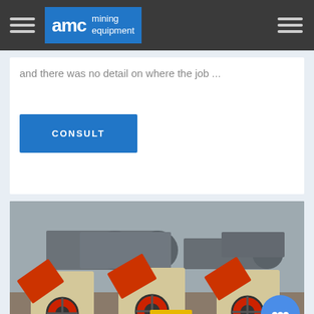AMC mining equipment
and there was no detail on where the job ...
CONSULT
[Figure (photo): Mining equipment yard showing multiple hammer crushers (cream and red colored) in foreground with large cylindrical ball mills in background at an industrial facility. AMC logo watermark visible.]